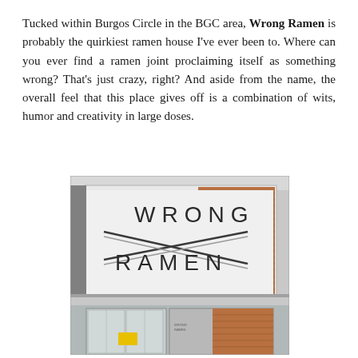Tucked within Burgos Circle in the BGC area, Wrong Ramen is probably the quirkiest ramen house I've ever been to. Where can you ever find a ramen joint proclaiming itself as something wrong? That's just crazy, right? And aside from the name, the overall feel that this place gives off is a combination of wits, humor and creativity in large doses.
[Figure (photo): Exterior photo of Wrong Ramen restaurant showing the building facade with a large sign reading 'WRONG RAMEN' in geometric lettering with an X design, and glass entrance doors below a canopy.]